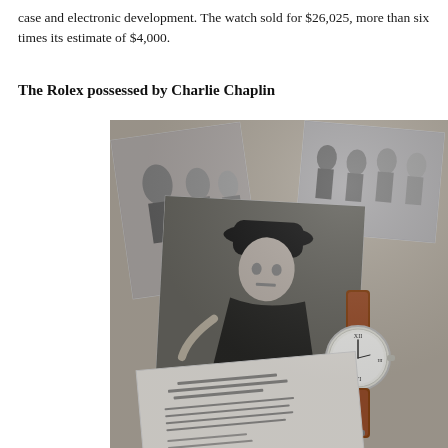case and electronic development. The watch sold for $26,025, more than six times its estimate of $4,000.
The Rolex possessed by Charlie Chaplin
[Figure (photo): A photograph showing a Rolex watch with a white dial and brown leather strap, displayed alongside several black-and-white photographs of Charlie Chaplin and what appears to be documents or letters.]